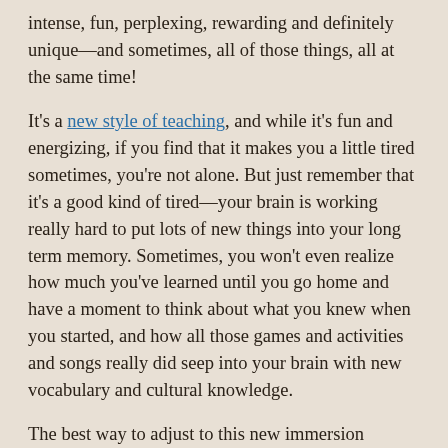intense, fun, perplexing, rewarding and definitely unique—and sometimes, all of those things, all at the same time!
It's a new style of teaching, and while it's fun and energizing, if you find that it makes you a little tired sometimes, you're not alone. But just remember that it's a good kind of tired—your brain is working really hard to put lots of new things into your long term memory. Sometimes, you won't even realize how much you've learned until you go home and have a moment to think about what you knew when you started, and how all those games and activities and songs really did seep into your brain with new vocabulary and cultural knowledge.
The best way to adjust to this new immersion learning experience is to practice good listening skills, have an open mind, make sure you're well rested and have a lot